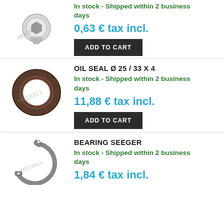[Figure (photo): Chrome screw/bolt with hex socket head, watermarked product image]
In stock - Shipped within 2 business days
0,63 € tax incl.
ADD TO CART
OIL SEAL Ø 25 / 33 X 4
[Figure (photo): Brown rubber oil seal / O-ring, watermarked product image]
In stock - Shipped within 2 business days
11,88 € tax incl.
ADD TO CART
BEARING SEEGER
[Figure (photo): Metal seeger/circlip ring, watermarked product image]
In stock - Shipped within 2 business days
1,84 € tax incl.